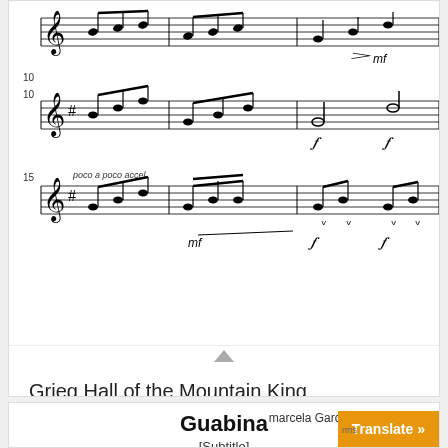[Figure (illustration): Sheet music notation for Grieg Hall of the Mountain King, showing three staff systems with musical notes, dynamic markings (mf, f), measure numbers (10, 15), and tempo marking 'poco a poco accel.']
Grieg Hall of the Mountain King
0.00 $
Add to cart
Show Details
[Figure (illustration): Sheet music score for 'Guabina' with subtitle '[Subtitle]', composer 'marcela Garcia', showing orchestral score with violin 1 part, pizz. markings, time signature 4/4, and multiple measures of notation]
Translate »